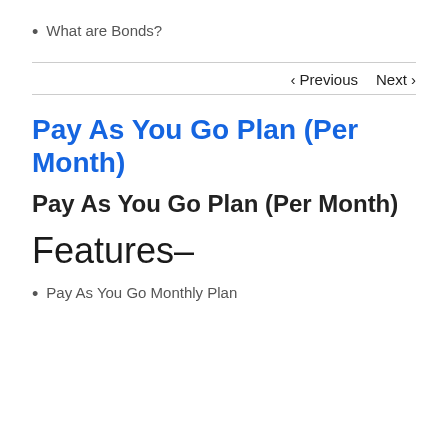What are Bonds?
< Previous   Next >
Pay As You Go Plan (Per Month)
Pay As You Go Plan (Per Month)
Features-
Pay As You Go Monthly Plan